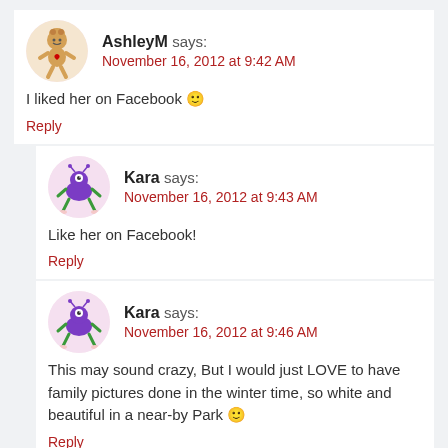AshleyM says:
November 16, 2012 at 9:42 AM
I liked her on Facebook 🙂
Reply
Kara says:
November 16, 2012 at 9:43 AM
Like her on Facebook!
Reply
Kara says:
November 16, 2012 at 9:46 AM
This may sound crazy, But I would just LOVE to have family pictures done in the winter time, so white and beautiful in a near-by Park 🙂
Reply